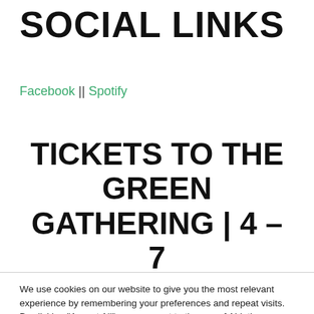SOCIAL LINKS
Facebook || Spotify
TICKETS TO THE GREEN GATHERING | 4 – 7
We use cookies on our website to give you the most relevant experience by remembering your preferences and repeat visits. By clicking "Accept All", you consent to the use of ALL the cookies. However, you may visit "Cookie Settings" to provide a controlled consent.